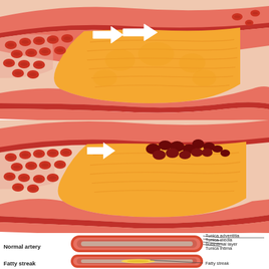[Figure (illustration): Medical illustration showing atherosclerosis progression. Top panel: cross-section of an artery with a large orange fatty plaque narrowing the lumen, red blood cells (RBCs) flowing through and white arrows indicating blood flow direction. Middle panel: similar artery cross-section with plaque and dark red clot/thrombus forming at the plaque site, with blood cells and flow arrows. Bottom section: two cylindrical artery cross-sections labeled 'Normal artery' and 'Fatty streak', with callout lines labeling the arterial layers: Tunica adventitia, Tunica media, Subintimal layer, Tunica intima (on normal artery), and Fatty streak (on the second artery). The fatty streak artery shows a yellow lipid deposit inside the intimal layer.]